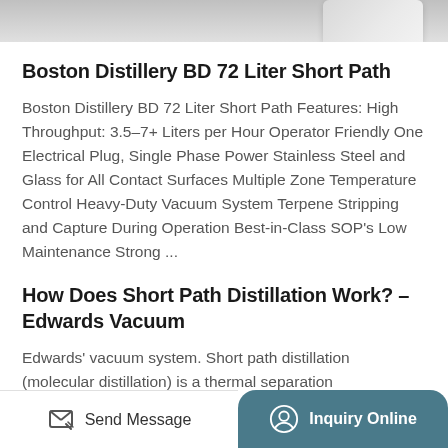[Figure (photo): Partial view of a distillation apparatus product image at the top of the page]
Boston Distillery BD 72 Liter Short Path
Boston Distillery BD 72 Liter Short Path Features: High Throughput: 3.5-7+ Liters per Hour Operator Friendly One Electrical Plug, Single Phase Power Stainless Steel and Glass for All Contact Surfaces Multiple Zone Temperature Control Heavy-Duty Vacuum System Terpene Stripping and Capture During Operation Best-in-Class SOP's Low Maintenance Strong ...
How Does Short Path Distillation Work? – Edwards Vacuum
Edwards' vacuum system. Short path distillation (molecular distillation) is a thermal separation